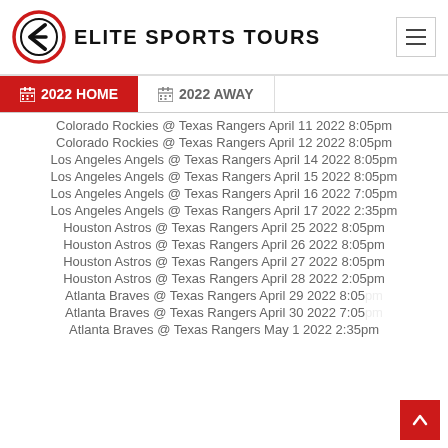Elite Sports Tours
2022 HOME | 2022 AWAY
Colorado Rockies @ Texas Rangers April 11 2022 8:05pm
Colorado Rockies @ Texas Rangers April 12 2022 8:05pm
Los Angeles Angels @ Texas Rangers April 14 2022 8:05pm
Los Angeles Angels @ Texas Rangers April 15 2022 8:05pm
Los Angeles Angels @ Texas Rangers April 16 2022 7:05pm
Los Angeles Angels @ Texas Rangers April 17 2022 2:35pm
Houston Astros @ Texas Rangers April 25 2022 8:05pm
Houston Astros @ Texas Rangers April 26 2022 8:05pm
Houston Astros @ Texas Rangers April 27 2022 8:05pm
Houston Astros @ Texas Rangers April 28 2022 2:05pm
Atlanta Braves @ Texas Rangers April 29 2022 8:05pm
Atlanta Braves @ Texas Rangers April 30 2022 7:05pm
Atlanta Braves @ Texas Rangers May 1 2022 2:35pm